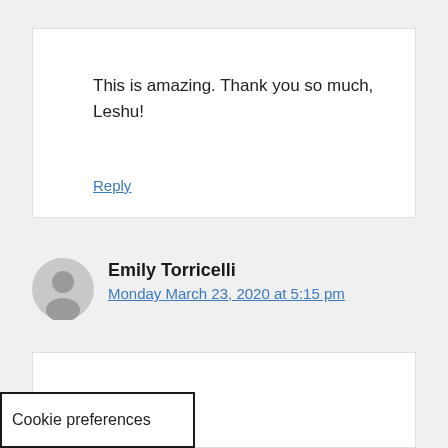This is amazing. Thank you so much, Leshu!
Reply
Emily Torricelli
Monday March 23, 2020 at 5:15 pm
I'm not sure about the international availability of this, but the Criterion its own subscription
Cookie preferences